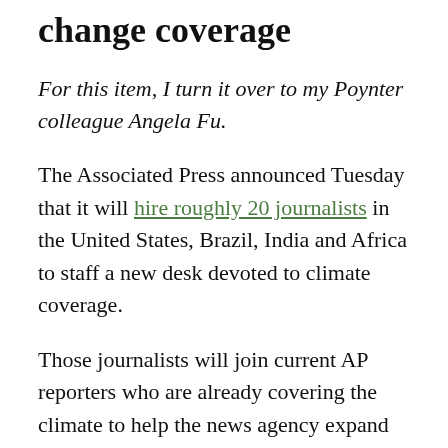change coverage
For this item, I turn it over to my Poynter colleague Angela Fu.
The Associated Press announced Tuesday that it will hire roughly 20 journalists in the United States, Brazil, India and Africa to staff a new desk devoted to climate coverage.
Those journalists will join current AP reporters who are already covering the climate to help the news agency expand its environmental reporting